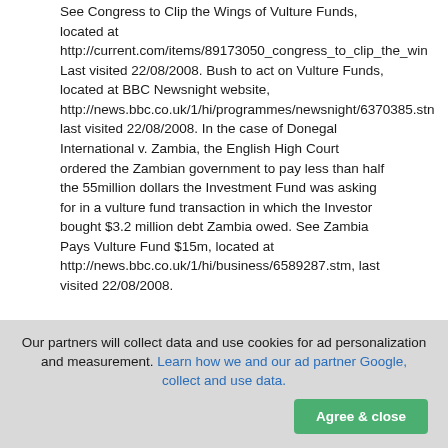See Congress to Clip the Wings of Vulture Funds, located at http://current.com/items/89173050_congress_to_clip_the_win Last visited 22/08/2008. Bush to act on Vulture Funds, located at BBC Newsnight website, http://news.bbc.co.uk/1/hi/programmes/newsnight/6370385.stn last visited 22/08/2008. In the case of Donegal International v. Zambia, the English High Court ordered the Zambian government to pay less than half the 55million dollars the Investment Fund was asking for in a vulture fund transaction in which the Investor bought $3.2 million debt Zambia owed. See Zambia Pays Vulture Fund $15m, located at http://news.bbc.co.uk/1/hi/business/6589287.stm, last visited 22/08/2008.
19
borrowing government to exact very generous terms.67 In other words, the lenders failed to do thorough due-diligence check, one that should have covered "good governance". Not only could the lenders be accused of applying unfair
Our partners will collect data and use cookies for ad personalization and measurement. Learn how we and our ad partner Google, collect and use data.